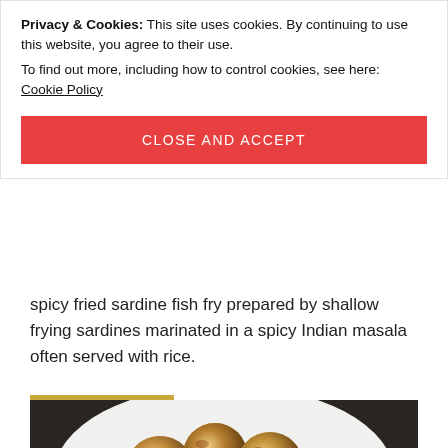[Figure (photo): Top strip showing a golden/brown textured background, partially visible at top of page]
Privacy & Cookies: This site uses cookies. By continuing to use this website, you agree to their use.
To find out more, including how to control cookies, see here:
Cookie Policy
CLOSE AND ACCEPT
spicy fried sardine fish fry prepared by shallow frying sardines marinated in a spicy Indian masala often served with rice.
READ MORE
[Figure (photo): Round golden-brown fried food items (likely paniyaram or appe) on a white plate, placed on a dark background]